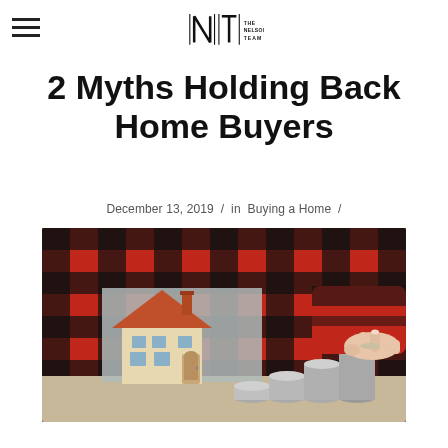The Nelson Team
2 Myths Holding Back Home Buyers
December 13, 2019 / in Buying a Home /
[Figure (photo): Person in red plaid shirt placing coin on stacks of coins next to a small model house on a table]
Real life...